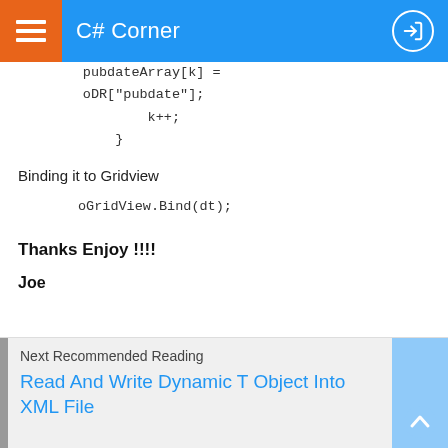C# Corner
pubdateArray[k] =
        oDR["pubdate"];
                k++;
            }
Binding it to Gridview
oGridView.Bind(dt);
Thanks Enjoy !!!!
Joe
Next Recommended Reading
Read And Write Dynamic T Object Into XML File